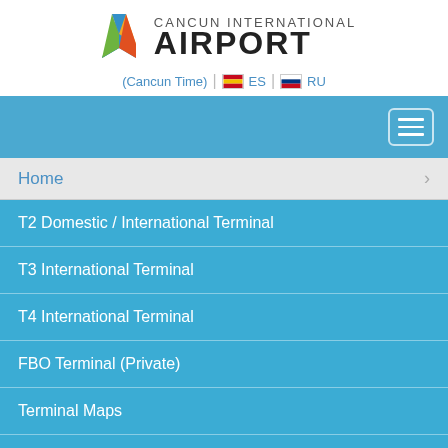[Figure (logo): Cancun International Airport logo with colorful arrow icon and text]
(Cancun Time) | ES | RU
[Figure (screenshot): Blue navigation bar with hamburger menu button]
Home
T2 Domestic / International Terminal
T3 International Terminal
T4 International Terminal
FBO Terminal (Private)
Terminal Maps
Lost and Found
Wi-Fi Internet
Lockers
VIP Lounge